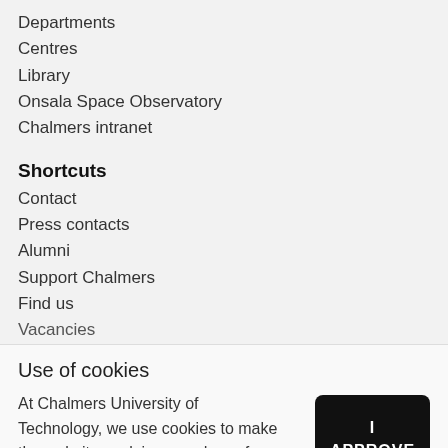Departments
Centres
Library
Onsala Space Observatory
Chalmers intranet
Shortcuts
Contact
Press contacts
Alumni
Support Chalmers
Find us
Vacancies
Use of cookies
At Chalmers University of Technology, we use cookies to make the website work in a good way for you. By continuing to browse, you agree that we use cookies. Read more about cookies.